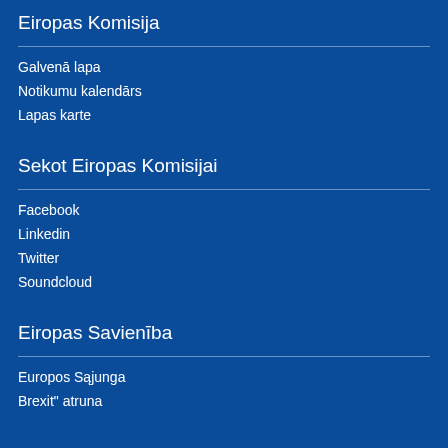Eiropas Komisija
Galvenā lapa
Notikumu kalendārs
Lapas karte
Sekot Eiropas Komisijai
Facebook
Linkedin
Twitter
Soundcloud
Eiropas Savienība
Europos Sąjunga
Brexit" atruna